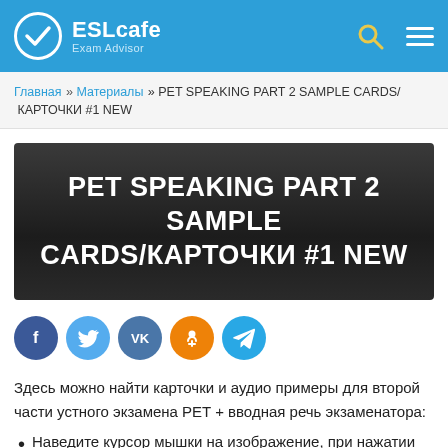ESLcafe Exam Advisor
Главная » Материалы » PET SPEAKING PART 2 SAMPLE CARDS/КАРТОЧКИ #1 NEW
[Figure (other): Dark banner with bold white uppercase text: PET SPEAKING PART 2 SAMPLE CARDS/КАРТОЧКИ #1 NEW]
[Figure (other): Social sharing buttons: Facebook (blue), Twitter (light blue), VK (blue), Odnoklassniki (orange), Telegram (blue)]
Здесь можно найти карточки и аудио примеры для второй части устного экзамена PET + вводная речь экзаменатора:
Наведите курсор мышки на изображение, при нажатии правой кнопки мыши изображение откроется в новой вкладке